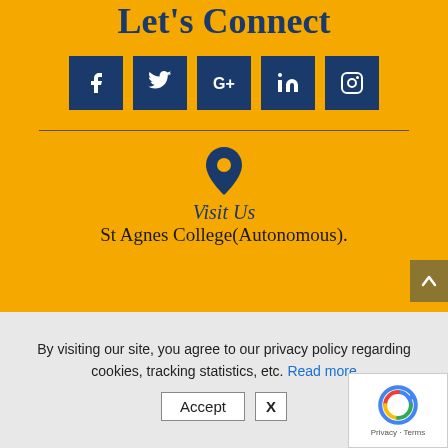Let's Connect
[Figure (infographic): Row of five social media icon buttons (Facebook, Twitter, Google+, LinkedIn, Instagram) in dark navy blue squares with white icons on yellow background]
[Figure (infographic): Navy blue location pin icon on yellow background]
Visit Us
St Agnes College(Autonomous).
By visiting our site, you agree to our privacy policy regarding cookies, tracking statistics, etc. Read more
Accept  X